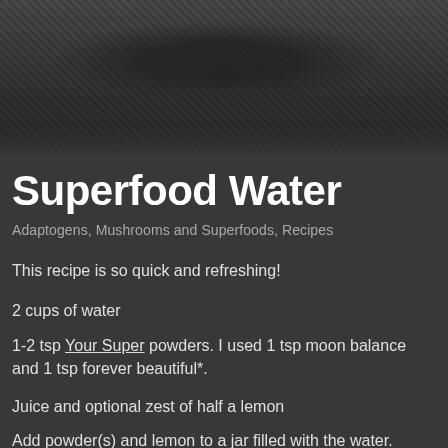[Figure (photo): Dark grainy textured photo, appears to be a close-up of a dark surface or ingredient]
Superfood Water
Adaptogens, Mushrooms and Superfoods, Recipes
This recipe is so quick and refreshing!
2 cups of water
1-2 tsp Your Super powders. I used 1 tsp moon balance and 1 tsp forever beautiful*.
Juice and optional zest of half a lemon
Add powder(s) and lemon to a jar filled with the water.